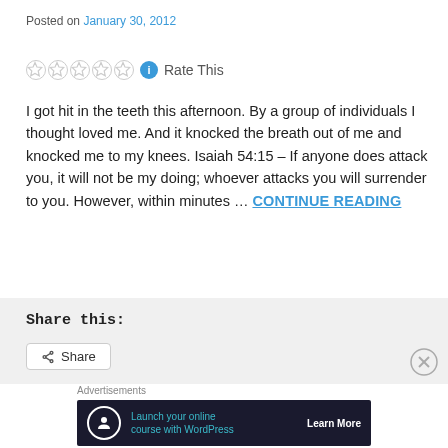Posted on January 30, 2012
[Figure (other): Five star rating widgets (empty/outline stars) with info icon and 'Rate This' label]
I got hit in the teeth this afternoon. By a group of individuals I thought loved me. And it knocked the breath out of me and knocked me to my knees. Isaiah 54:15 – If anyone does attack you, it will not be my doing; whoever attacks you will surrender to you. However, within minutes … CONTINUE READING
Share this:
[Figure (other): Share button with share icon]
Advertisements
[Figure (other): Advertisement banner: Launch your online course with WordPress - Learn More]